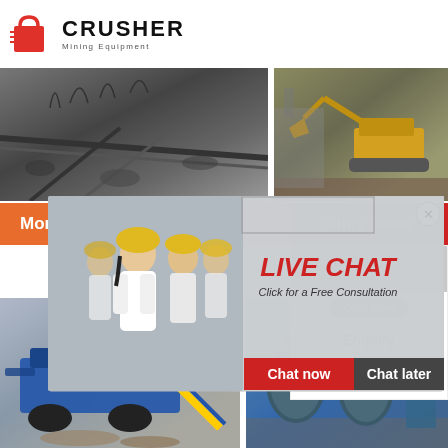[Figure (logo): Crusher Mining Equipment logo with red shopping bag icon and bold CRUSHER text]
[Figure (photo): Mining conveyor/excavator scene, black and white tones]
[Figure (photo): Yellow construction excavator at mining site]
More
24Hrs Online
[Figure (infographic): Live chat popup with workers in hard hats, LIVE CHAT headline, Click for a Free Consultation, Chat now and Chat later buttons, close button]
[Figure (photo): Blue mobile crusher machine at mining site]
[Figure (photo): Industrial grinding/ball mill machines in factory]
Need questions & suggestion?
Chat Now
Enquiry
limingjlmofen@sina.com